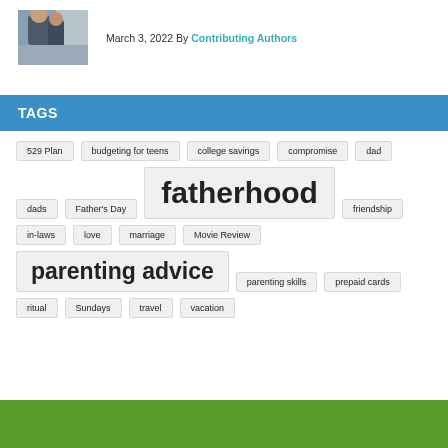[Figure (photo): Thumbnail photo of people, partially visible]
March 3, 2022 By Contributing Authors
TAGS
529 Plan
budgeting for teens
college savings
compromise
dad
dads
Father's Day
fatherhood
friendship
in-laws
love
marriage
Movie Review
parenting advice
parenting skills
prepaid cards
ritual
Sundays
travel
vacation